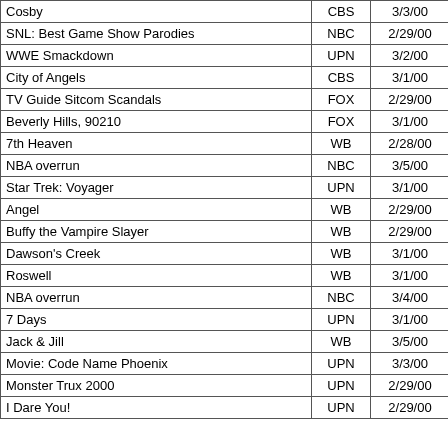| Show | Network | Date |  |
| --- | --- | --- | --- |
| Cosby | CBS | 3/3/00 | 5 |
| SNL: Best Game Show Parodies | NBC | 2/29/00 | 5 |
| WWE Smackdown | UPN | 3/2/00 | 4 |
| City of Angels | CBS | 3/1/00 | 5 |
| TV Guide Sitcom Scandals | FOX | 2/29/00 | 4 |
| Beverly Hills, 90210 | FOX | 3/1/00 | 4 |
| 7th Heaven | WB | 2/28/00 | 4 |
| NBA overrun | NBC | 3/5/00 | 4 |
| Star Trek: Voyager | UPN | 3/1/00 | 3 |
| Angel | WB | 2/29/00 | 3 |
| Buffy the Vampire Slayer | WB | 2/29/00 | 3 |
| Dawson's Creek | WB | 3/1/00 | 3 |
| Roswell | WB | 3/1/00 | 2 |
| NBA overrun | NBC | 3/4/00 | 2 |
| 7 Days | UPN | 3/1/00 | 2 |
| Jack & Jill | WB | 3/5/00 | 2 |
| Movie: Code Name Phoenix | UPN | 3/3/00 | 1 |
| Monster Trux 2000 | UPN | 2/29/00 | 1 |
| I Dare You! | UPN | 2/29/00 | 1 |